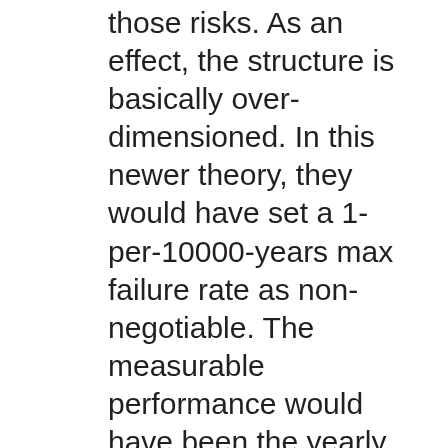those risks. As an effect, the structure is basically over-dimensioned. In this newer theory, they would have set a 1-per-10000-years max failure rate as non-negotiable. The measurable performance would have been the yearly difference between the sealevel and the river level, as that determines the load on the structure. The solution would have been in the hands of the constructor (and in this scenario, therefore the maintainer!) and he could have used a lighter structure. If the trend for the sea level would have started to rise, they could make the structure more heavy, if needed. In a normal scenario this would have meant an extra contract, which means a lot of money. So in the normal scenario you just design it to be heavy from the beginning.